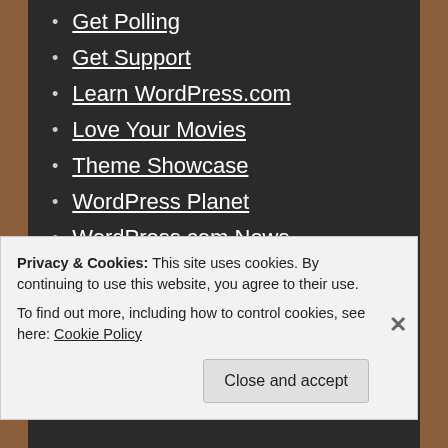Get Polling
Get Support
Learn WordPress.com
Love Your Movies
Theme Showcase
WordPress Planet
WordPress.com News
[Figure (photo): Row of avatar/profile images: purple geometric pattern, woman with glasses, green geometric pattern, blonde woman, black cat, man with glasses]
Privacy & Cookies: This site uses cookies. By continuing to use this website, you agree to their use.
To find out more, including how to control cookies, see here: Cookie Policy
Close and accept